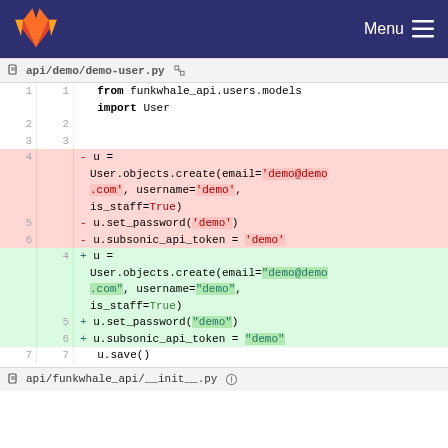GitLab — Menu
api/demo/demo-user.py
[Figure (screenshot): Git diff view of api/demo/demo-user.py showing deleted lines (red background) using single-quoted strings for 'demo@demo.com', 'demo', and added lines (green background) using double-quoted strings for "demo@demo.com", "demo". Lines 1-3 are neutral (from/import User), lines 4-6 deleted, lines 4-6 added, line 7 neutral (u.save()).]
api/funkwhale_api/__init__.py